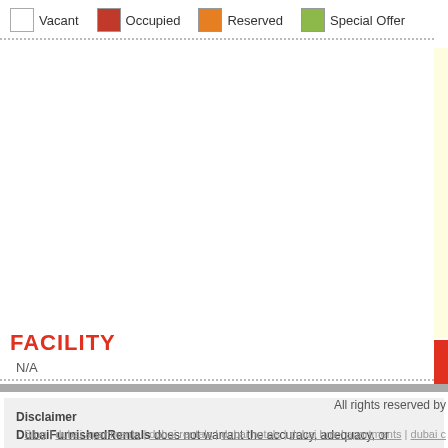Vacant | Occupied | Reserved | Special Offer
FACILITY
N/A
Disclaimer DubaiFurnishedRentals does not warrant the accuracy, adequacy, or completeness of any errors or omissions therein. The information presented herein may include data amended or changed at any time by third parties without notice to DubaiFurnishedRentals given in respect of the information.
All rights reserved by
Blog | dubai apartments | dubai rentals | dubai hotels | dubai hotel apartments | dubai c